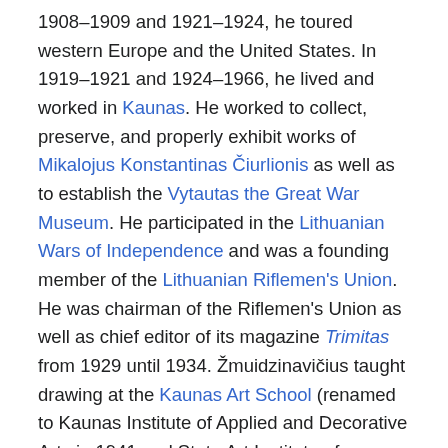1908–1909 and 1921–1924, he toured western Europe and the United States. In 1919–1921 and 1924–1966, he lived and worked in Kaunas. He worked to collect, preserve, and properly exhibit works of Mikalojus Konstantinas Čiurlionis as well as to establish the Vytautas the Great War Museum. He participated in the Lithuanian Wars of Independence and was a founding member of the Lithuanian Riflemen's Union. He was chairman of the Riflemen's Union as well as chief editor of its magazine Trimitas from 1929 until 1934. Žmuidzinavičius taught drawing at the Kaunas Art School (renamed to Kaunas Institute of Applied and Decorative Arts in 1941 and State Art Institute of Lithuania in 1951) in 1926–1953 and at the Kaunas Polytechnic Institute in 1953–1966. He was recognized as the People's Painter of the USSR in 1957.
Žmuidzinavičius created more than 2,000 pieces of art and is best known for his landscapes that create a sense of